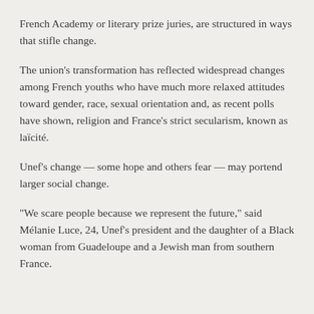French Academy or literary prize juries, are structured in ways that stifle change.
The union's transformation has reflected widespread changes among French youths who have much more relaxed attitudes toward gender, race, sexual orientation and, as recent polls have shown, religion and France's strict secularism, known as laïcité.
Unef's change — some hope and others fear — may portend larger social change.
"We scare people because we represent the future," said Mélanie Luce, 24, Unef's president and the daughter of a Black woman from Guadeloupe and a Jewish man from southern France.